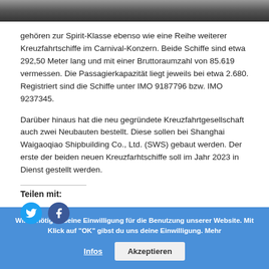[Figure (photo): Dark textured header image, appears to be a ship or ocean scene in dark grey tones]
gehören zur Spirit-Klasse ebenso wie eine Reihe weiterer Kreuzfahrtschiffe im Carnival-Konzern. Beide Schiffe sind etwa 292,50 Meter lang und mit einer Bruttoraumzahl von 85.619 vermessen. Die Passagierkapazität liegt jeweils bei etwa 2.680. Registriert sind die Schiffe unter IMO 9187796 bzw. IMO 9237345.
Darüber hinaus hat die neu gegründete Kreuzfahrtgesellschaft auch zwei Neubauten bestellt. Diese sollen bei Shanghai Waigaoqiao Shipbuilding Co., Ltd. (SWS) gebaut werden. Der erste der beiden neuen Kreuzfarhtschiffe soll im Jahr 2023 in Dienst gestellt werden.
Teilen mit:
Wir benötigen deine Einwilligung für die Benutzung unserer Website. Mit Klick auf "OK" gibst du uns deine Einwilligung. Mehr Infos   Akzeptieren